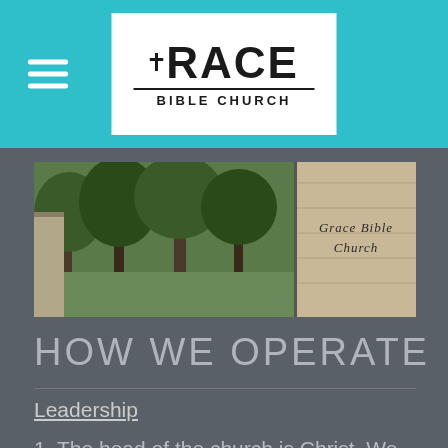Grace Bible Church
[Figure (photo): Panoramic photo of Grace Bible Church exterior with trees and stone sign reading 'Grace Bible Church']
HOW WE OPERATE
Leadership
1. The head of the church is Christ. We believe that He makes His headship and leadership known through men that He chooses and equips to carry on the